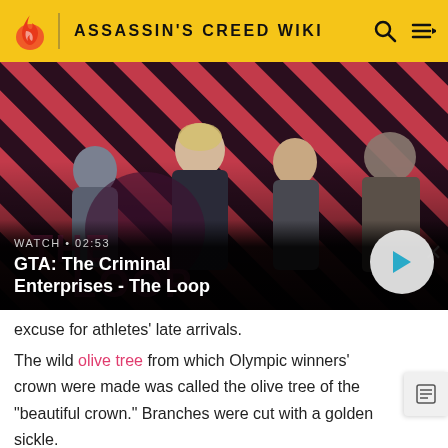ASSASSIN'S CREED WIKI
[Figure (screenshot): GTA: The Criminal Enterprises - The Loop video thumbnail showing four game characters against a red and dark diagonal striped background. Text overlay reads WATCH 02:53 and GTA: The Criminal Enterprises - The Loop with a play button.]
excuse for athletes' late arrivals.
The wild olive tree from which Olympic winners' crowns were made was called the olive tree of the "beautiful crown." Branches were cut with a golden sickle.